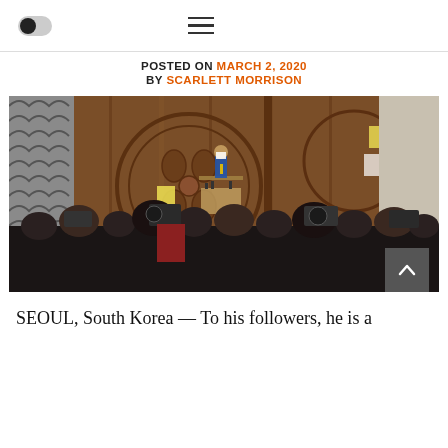Toggle / Hamburger menu header
POSTED ON MARCH 2, 2020 BY SCARLETT MORRISON
[Figure (photo): A man in a suit and face mask sits at a table giving a press conference, surrounded by a large crowd of journalists and camera operators, in front of a large ornate wooden door with circular carved designs. Traditional Korean architecture with tiled roof visible on the left.]
SEOUL, South Korea — To his followers, he is a